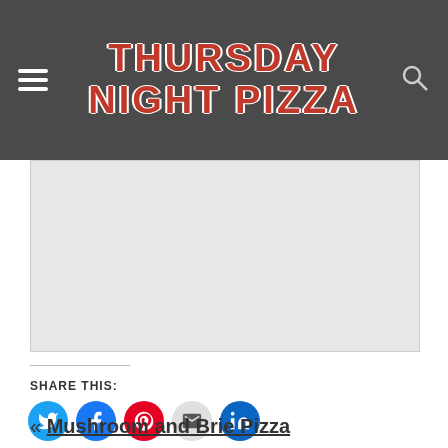THURSDAY NIGHT PIZZA
[Figure (other): Gray advertisement placeholder area]
SHARE THIS:
[Figure (infographic): Social share buttons: Twitter, Facebook, Pinterest, Email, LinkedIn]
« Mushroom and Brie Pizza